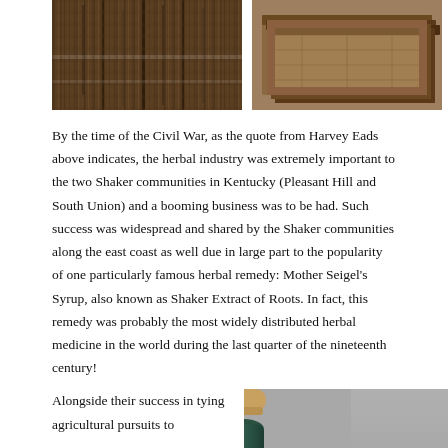[Figure (photo): Two photos at top: left shows hanging dried plants/herbs with dark textured background; right shows wooden box/tray with contents, viewed from above]
By the time of the Civil War, as the quote from Harvey Eads above indicates, the herbal industry was extremely important to the two Shaker communities in Kentucky (Pleasant Hill and South Union) and a booming business was to be had. Such success was widespread and shared by the Shaker communities along the east coast as well due in large part to the popularity of one particularly famous herbal remedy: Mother Seigel's Syrup, also known as Shaker Extract of Roots. In fact, this remedy was probably the most widely distributed herbal medicine in the world during the last quarter of the nineteenth century!
Alongside their success in tying agricultural pursuits to
[Figure (photo): Close-up photo of a dark green glass bottle with a cork stopper, on a gray background]